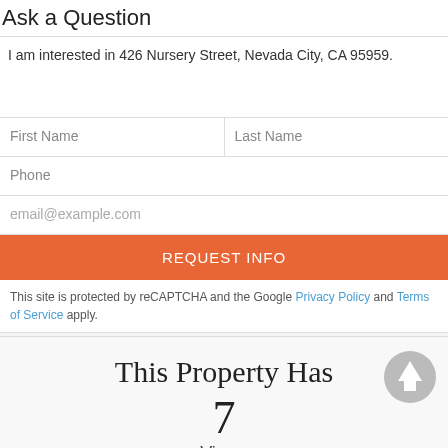Ask a Question
I am interested in 426 Nursery Street, Nevada City, CA 95959.
First Name
Last Name
Phone
email@example.com
REQUEST INFO
This site is protected by reCAPTCHA and the Google Privacy Policy and Terms of Service apply.
This Property Has
7
Views